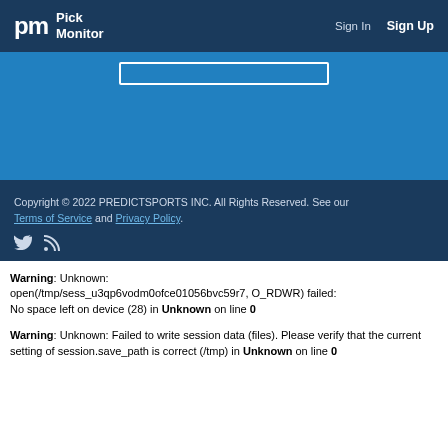Pick Monitor — Sign In  Sign Up
[Figure (screenshot): Blue content area with white search box outline]
Copyright © 2022 PREDICTSPORTS INC. All Rights Reserved. See our Terms of Service and Privacy Policy. [Twitter icon] [RSS icon]
Warning: Unknown: open(/tmp/sess_u3qp6vodm0ofce01056bvc59r7, O_RDWR) failed: No space left on device (28) in Unknown on line 0
Warning: Unknown: Failed to write session data (files). Please verify that the current setting of session.save_path is correct (/tmp) in Unknown on line 0